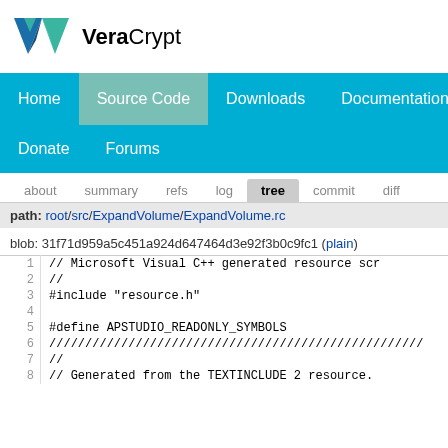[Figure (logo): VeraCrypt logo with geometric V shape in blue and green teal colors, text 'VeraCrypt' below]
Home  Source Code  Downloads  Documentation  Donate  Forums
about  summary  refs  log  tree  commit  diff
path: root/src/ExpandVolume/ExpandVolume.rc
blob: 31f71d959a5c451a924d647464d3e92f3b0c9fc1 (plain)
1  // Microsoft Visual C++ generated resource scr
2  //
3  #include "resource.h"
4
5  #define APSTUDIO_READONLY_SYMBOLS
6  ////////////////////////////////////////////////////
7  //
8  // Generated from the TEXTINCLUDE 2 resource.